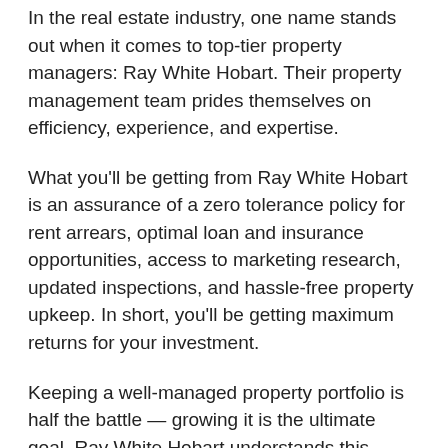In the real estate industry, one name stands out when it comes to top-tier property managers: Ray White Hobart. Their property management team prides themselves on efficiency, experience, and expertise.
What you'll be getting from Ray White Hobart is an assurance of a zero tolerance policy for rent arrears, optimal loan and insurance opportunities, access to marketing research, updated inspections, and hassle-free property upkeep. In short, you'll be getting maximum returns for your investment.
Keeping a well-managed property portfolio is half the battle — growing it is the ultimate goal. Ray White Hobart understands this mission, and commits to achieving it. But don't just take our word for it. Let their 120 years of valuable market experience speak for the level of trust Hobart